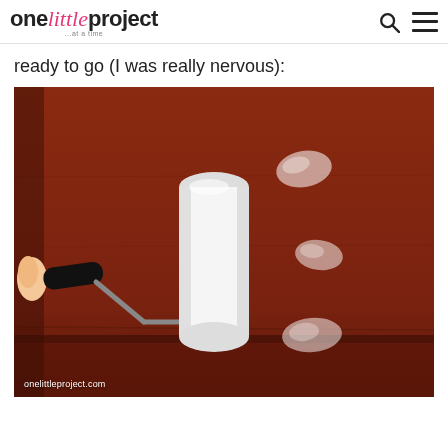one little project ...at a time
ready to go (I was really nervous):
[Figure (photo): A paint roller with a white foam roller head held by a hand, positioned against a reddish-brown wooden dresser surface that has several small white scuff marks or scratches visible on it.]